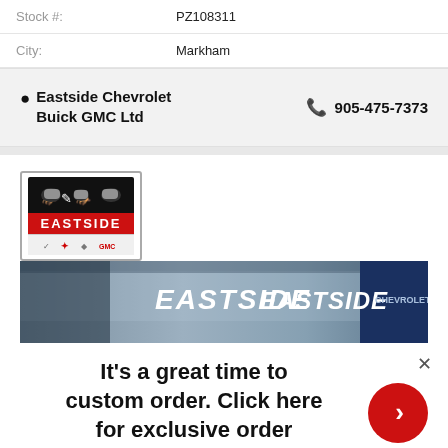| Stock #: | PZ108311 |
| City: | Markham |
Eastside Chevrolet Buick GMC Ltd  905-475-7373
[Figure (logo): Eastside dealership logo with horses silhouette on black background, red bar with EASTSIDE text, and brand logos below]
[Figure (photo): Exterior photo of Eastside dealership building with EASTSIDE signage]
It's a great time to custom order. Click here for exclusive order experience.